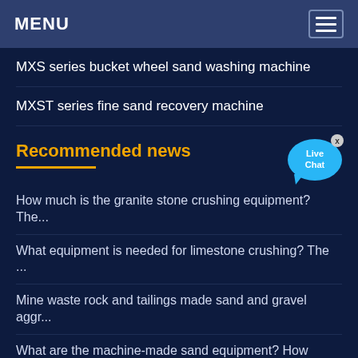MENU
MXS series bucket wheel sand washing machine
MXST series fine sand recovery machine
Recommended news
How much is the granite stone crushing equipment? The...
What equipment is needed for limestone crushing? The ...
Mine waste rock and tailings made sand and gravel aggr...
What are the machine-made sand equipment? How muc...
Analysis of equipment configuration of crushing producti...
What are the sand production equipment in the stone fa...
What is the equipment configuration of the construction...